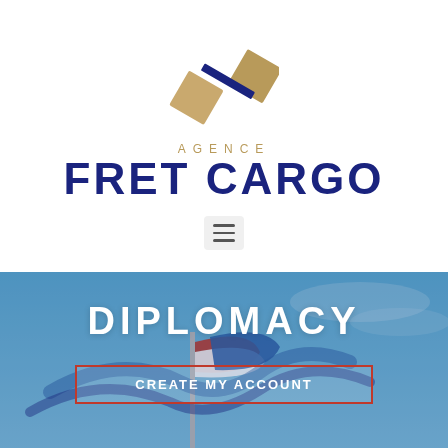[Figure (logo): Agence Fret Cargo logo: two overlapping diamond/rhombus shapes in gold/tan color with a dark navy accent strip]
AGENCE
FRET CARGO
[Figure (infographic): Hamburger menu icon (three horizontal lines) on a light gray rounded rectangle background]
[Figure (photo): Background photo of a flag (French tricolor red, white, blue) on a pole against a blue sky, partially blurred]
DIPLOMACY
CREATE MY ACCOUNT